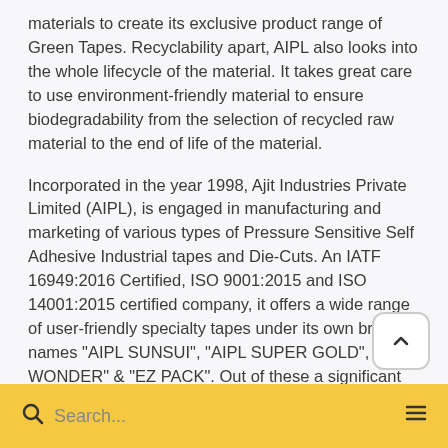materials to create its exclusive product range of Green Tapes. Recyclability apart, AIPL also looks into the whole lifecycle of the material. It takes great care to use environment-friendly material to ensure biodegradability from the selection of recycled raw material to the end of life of the material.
Incorporated in the year 1998, Ajit Industries Private Limited (AIPL), is engaged in manufacturing and marketing of various types of Pressure Sensitive Self Adhesive Industrial tapes and Die-Cuts. An IATF 16949:2016 Certified, ISO 9001:2015 and ISO 14001:2015 certified company, it offers a wide range of user-friendly specialty tapes under its own brand-names "AIPL SUNSUI", "AIPL SUPER GOLD", "EZ WONDER" & "EZ PACK". Out of these a significant portion of the specialty products are ornamented with "UL" certification.
Search...